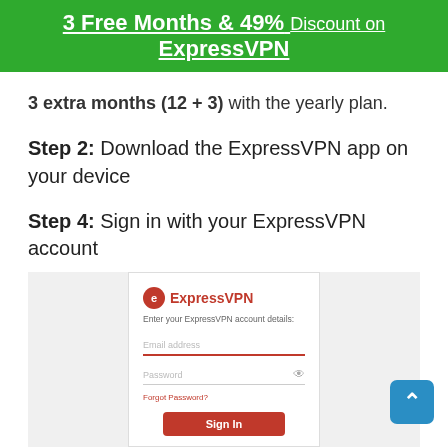3 Free Months & 49% Discount on ExpressVPN
3 extra months (12 + 3) with the yearly plan.
Step 2:  Download the ExpressVPN app on your device
Step 4: Sign in with your ExpressVPN account
[Figure (screenshot): ExpressVPN login screen showing email address and password fields with a red Sign In button]
Step 5: Connect to an ExpressVPN server and stream safely and privately